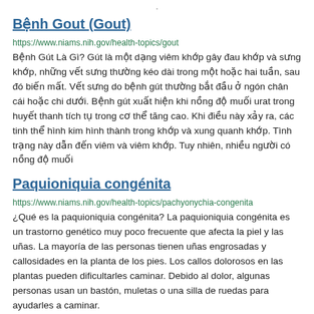Bệnh Gout (Gout)
https://www.niams.nih.gov/health-topics/gout
Bệnh Gút Là Gì? Gút là một dạng viêm khớp gây đau khớp và sưng khớp, những vết sưng thường kéo dài trong một hoặc hai tuần, sau đó biến mất. Vết sưng do bệnh gút thường bắt đầu ở ngón chân cái hoặc chi dưới. Bệnh gút xuất hiện khi nồng độ muối urat trong huyết thanh tích tụ trong cơ thể tăng cao. Khi điều này xảy ra, các tinh thể hình kim hình thành trong khớp và xung quanh khớp. Tình trạng này dẫn đến viêm và viêm khớp. Tuy nhiên, nhiều người có nồng độ muối
Paquioniquia congénita
https://www.niams.nih.gov/health-topics/pachyonychia-congenita
¿Qué es la paquioniquia congénita? La paquioniquia congénita es un trastorno genético muy poco frecuente que afecta la piel y las uñas. La mayoría de las personas tienen uñas engrosadas y callosidades en la planta de los pies. Los callos dolorosos en las plantas pueden dificultarles caminar. Debido al dolor, algunas personas usan un bastón, muletas o una silla de ruedas para ayudarles a caminar.
Lesiones deportivas
https://www.niams.nih.gov/health-topics/sports-injuries